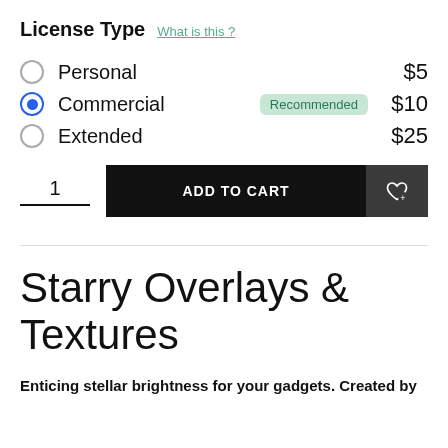License Type  What is this ?
Personal  $5
Commercial  Recommended  $10
Extended  $25
[Figure (screenshot): Add to cart row with quantity field showing 1, black ADD TO CART button, and dark grey wishlist heart button]
Starry Overlays & Textures
Enticing stellar brightness for your gadgets. Created by